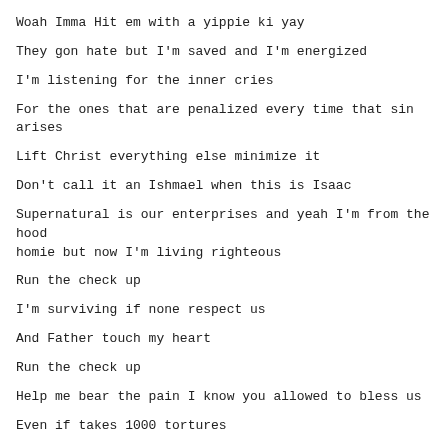Woah Imma Hit em with a yippie ki yay
They gon hate but I'm saved and I'm energized
I'm listening for the inner cries
For the ones that are penalized every time that sin arises
Lift Christ everything else minimize it
Don't call it an Ishmael when this is Isaac
Supernatural is our enterprises and yeah I'm from the hood homie but now I'm living righteous
Run the check up
I'm surviving if none respect us
And Father touch my heart
Run the check up
Help me bear the pain I know you allowed to bless us
Even if takes 1000 tortures